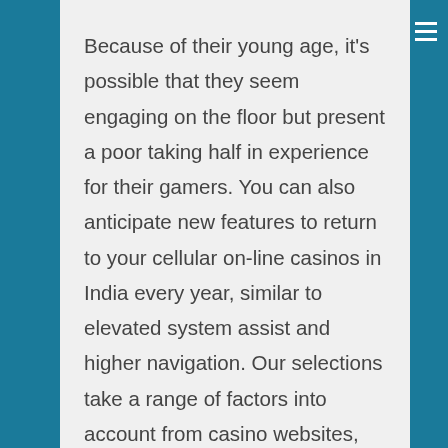Because of their young age, it's possible that they seem engaging on the floor but present a poor taking half in experience for their gamers. You can also anticipate new features to return to your cellular on-line casinos in India every year, similar to elevated system assist and higher navigation. Our selections take a range of factors into account from casino websites, corresponding to localization, cost methods, licensing, trustworthiness, and bonuses & free spins. Consider the next explanations for each of those attributes.

To learn more about Our site visit view